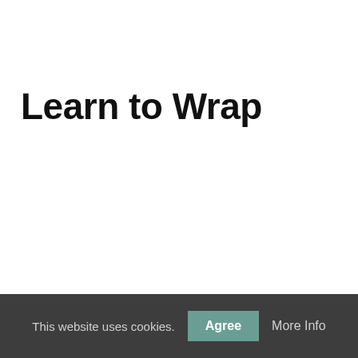Learn to Wrap
This website uses cookies.  Agree  More Info